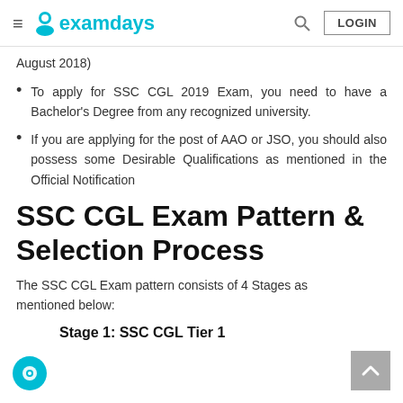examdays — LOGIN
August 2018)
To apply for SSC CGL 2019 Exam, you need to have a Bachelor's Degree from any recognized university.
If you are applying for the post of AAO or JSO, you should also possess some Desirable Qualifications as mentioned in the Official Notification
SSC CGL Exam Pattern & Selection Process
The SSC CGL Exam pattern consists of 4 Stages as mentioned below:
Stage 1: SSC CGL Tier 1